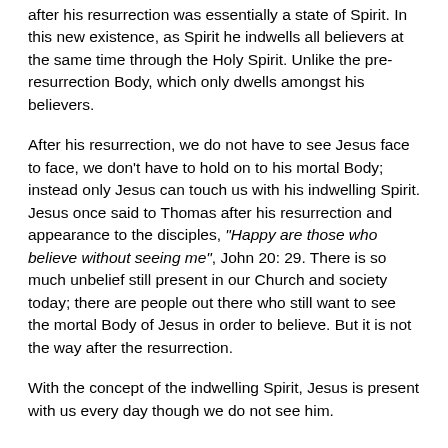after his resurrection was essentially a state of Spirit. In this new existence, as Spirit he indwells all believers at the same time through the Holy Spirit. Unlike the pre-resurrection Body, which only dwells amongst his believers.
After his resurrection, we do not have to see Jesus face to face, we don't have to hold on to his mortal Body; instead only Jesus can touch us with his indwelling Spirit. Jesus once said to Thomas after his resurrection and appearance to the disciples, “Happy are those who believe without seeing me”, John 20: 29. There is so much unbelief still present in our Church and society today; there are people out there who still want to see the mortal Body of Jesus in order to believe. But it is not the way after the resurrection.
With the concept of the indwelling Spirit, Jesus is present with us every day though we do not see him.